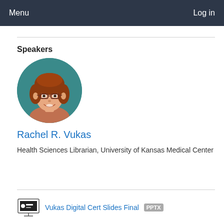Menu   Log in
Speakers
[Figure (photo): Circular profile photo of Rachel R. Vukas, a woman with reddish-brown hair and glasses, smiling, against a teal background.]
Rachel R. Vukas
Health Sciences Librarian, University of Kansas Medical Center
Vukas Digital Cert Slides Final  PPTX